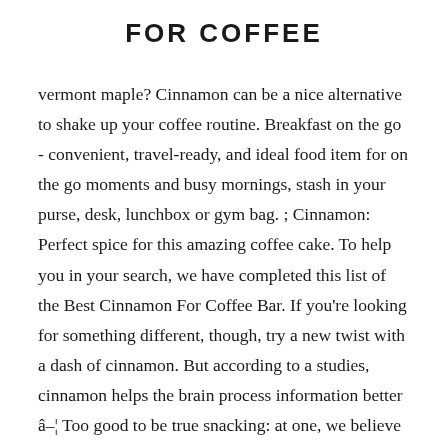FOR COFFEE
vermont maple? Cinnamon can be a nice alternative to shake up your coffee routine. Breakfast on the go - convenient, travel-ready, and ideal food item for on the go moments and busy mornings, stash in your purse, desk, lunchbox or gym bag. ; Cinnamon: Perfect spice for this amazing coffee cake. To help you in your search, we have completed this list of the Best Cinnamon For Coffee Bar. If you're looking for something different, though, try a new twist with a dash of cinnamon. But according to a studies, cinnamon helps the brain process information better â¦ Too good to be true snacking: at one, we believe that great taste and